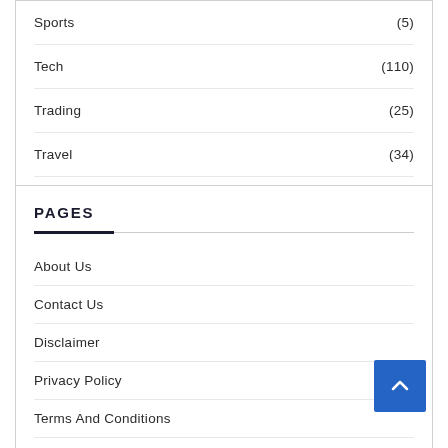Sports (5)
Tech (110)
Trading (25)
Travel (34)
Uncategorized (3,407)
PAGES
About Us
Contact Us
Disclaimer
Privacy Policy
Terms And Conditions
Write For Us